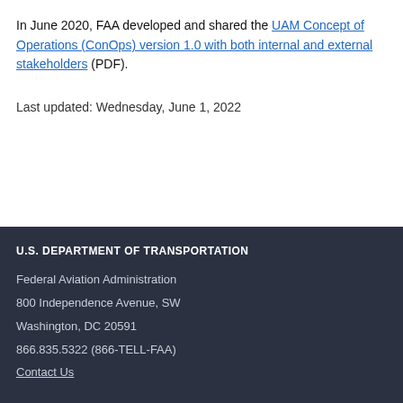In June 2020, FAA developed and shared the UAM Concept of Operations (ConOps) version 1.0 with both internal and external stakeholders (PDF).
Last updated: Wednesday, June 1, 2022
U.S. DEPARTMENT OF TRANSPORTATION
Federal Aviation Administration
800 Independence Avenue, SW
Washington, DC 20591
866.835.5322 (866-TELL-FAA)
Contact Us